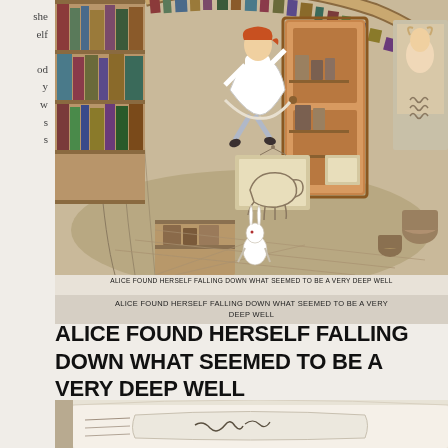she elf od y w s s
[Figure (illustration): Alice in Wonderland illustration showing Alice falling down a well into a circular room with bookshelves, an open wooden door/cabinet, a white rabbit at the bottom, and a framed picture of an elephant on the wall. A picture label inside the illustration reads: ALICE FOUND HERSELF FALLING DOWN WHAT SEEMED TO BE A VERY DEEP WELL]
ALICE FOUND HERSELF FALLING DOWN WHAT SEEMED TO BE A VERY DEEP WELL
ALICE FOUND HERSELF FALLING DOWN WHAT SEEMED TO BE A VERY DEEP WELL
[Figure (photo): Partial photograph of an open book showing a handwritten signature or inscription on a page, with the book spine visible on the left.]